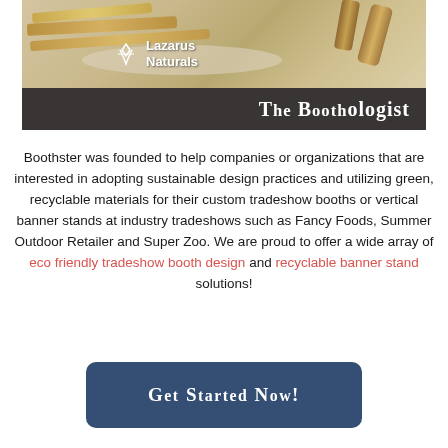[Figure (photo): Photo of bamboo/natural materials including bamboo sticks, cylindrical tubes, and natural fiber mat, with Lazarus Naturals logo overlay. Dark banner at bottom reads 'The Boothologist' in serif font.]
Boothster was founded to help companies or organizations that are interested in adopting sustainable design practices and utilizing green, recyclable materials for their custom tradeshow booths or vertical banner stands at industry tradeshows such as Fancy Foods, Summer Outdoor Retailer and Super Zoo. We are proud to offer a wide array of eco friendly tradeshow booth design and recyclable banner stand solutions!
[Figure (other): Button: 'Get Started Now!' in white serif bold text on dark blue/navy rounded rectangle background.]